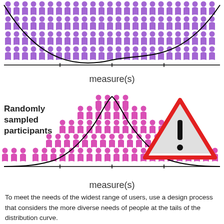[Figure (infographic): Top infographic: uniform distribution of purple people icons across a flat baseline with a U-shaped normal curve overlay, representing non-random/convenience sampling. X-axis label: measure(s).]
measure(s)
[Figure (infographic): Bottom infographic: bell-shaped (normal) distribution of pink people icons representing randomly sampled participants, with a normal curve overlay and a warning triangle sign. X-axis label: measure(s). Label: Randomly sampled participants.]
measure(s)
To meet the needs of the widest range of users, use a design process that considers the more diverse needs of people at the tails of the distribution curve.